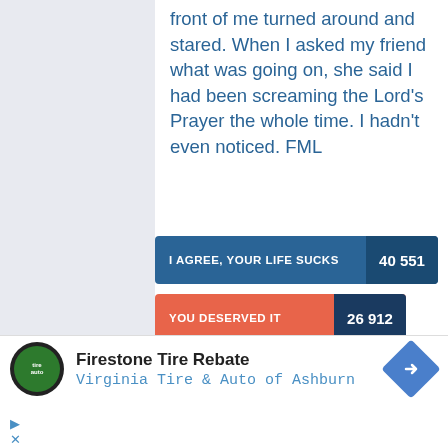front of me turned around and stared. When I asked my friend what was going on, she said I had been screaming the Lord's Prayer the whole time. I hadn't even noticed. FML
[Figure (other): Two voting buttons: 'I AGREE, YOUR LIFE SUCKS 40 551' (blue) and 'YOU DESERVED IT 26 912' (orange/dark blue)]
[Figure (other): Tweet and Share social buttons]
[Figure (other): Advertisement banner: Firestone Tire Rebate - Virginia Tire & Auto of Ashburn]